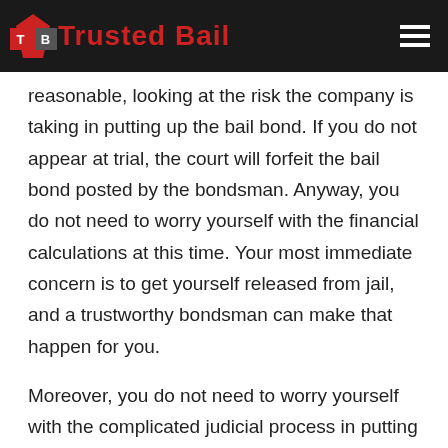Trusted Bail
reasonable, looking at the risk the company is taking in putting up the bail bond. If you do not appear at trial, the court will forfeit the bail bond posted by the bondsman. Anyway, you do not need to worry yourself with the financial calculations at this time. Your most immediate concern is to get yourself released from jail, and a trustworthy bondsman can make that happen for you.
Moreover, you do not need to worry yourself with the complicated judicial process in putting up bail as the bondsman will deal with that to assist in your release from prison. All that needs to be done is for you or your representative to call a trustworthy bail agent. That agent